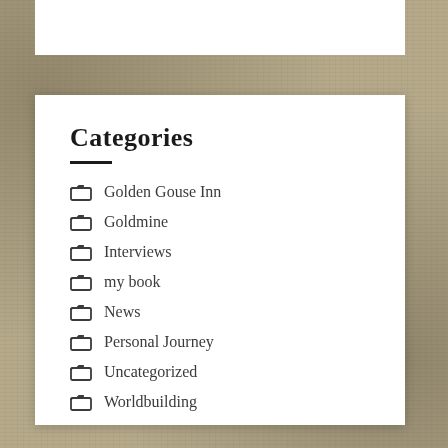Categories
Golden Gouse Inn
Goldmine
Interviews
my book
News
Personal Journey
Uncategorized
Worldbuilding